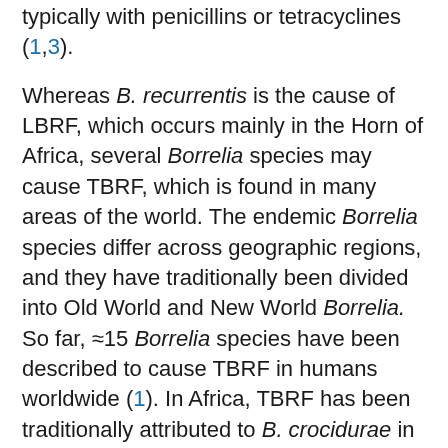typically with penicillins or tetracyclines (1,3).
Whereas B. recurrentis is the cause of LBRF, which occurs mainly in the Horn of Africa, several Borrelia species may cause TBRF, which is found in many areas of the world. The endemic Borrelia species differ across geographic regions, and they have traditionally been divided into Old World and New World Borrelia. So far, ≈15 Borrelia species have been described to cause TBRF in humans worldwide (1). In Africa, TBRF has been traditionally attributed to B. crocidurae in western Africa, B. hispanica in northern Africa, and B. duttonii in eastern Africa (1,4).
Because microscopy is currently the standard method for diagnosis of TBRF in most countries in Africa, diagnosis does not usually include differentiation of species. With the advent of